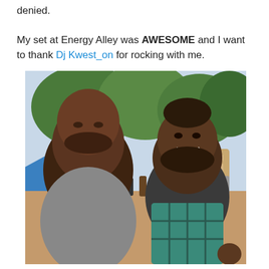denied.

My set at Energy Alley was AWESOME and I want to thank Dj Kwest_on for rocking with me.
[Figure (photo): A selfie photo of two men standing outdoors at a public event called Energy Alley. The man on the left is bald and looking at the camera seriously. The man on the right is smiling widely and wearing a plaid shirt. In the background there is a crowd of people, large trees, a stone archway, and a blue tent.]